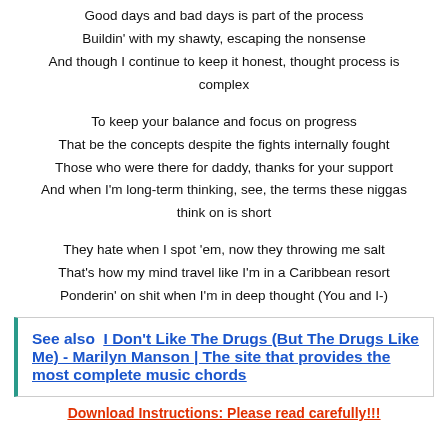Good days and bad days is part of the process
Buildin' with my shawty, escaping the nonsense
And though I continue to keep it honest, thought process is complex

To keep your balance and focus on progress
That be the concepts despite the fights internally fought
Those who were there for daddy, thanks for your support
And when I'm long-term thinking, see, the terms these niggas think on is short

They hate when I spot 'em, now they throwing me salt
That's how my mind travel like I'm in a Caribbean resort
Ponderin' on shit when I'm in deep thought (You and I-)
See also  I Don't Like The Drugs (But The Drugs Like Me) - Marilyn Manson | The site that provides the most complete music chords
Download Instructions: Please read carefully!!!